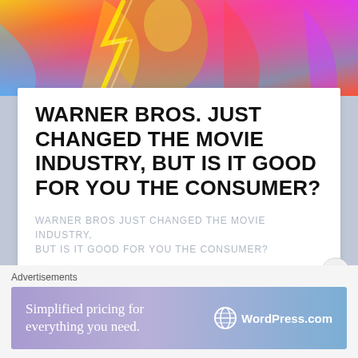[Figure (photo): Colorful vibrant hero image with superhero figure against bright multicolored background]
WARNER BROS. JUST CHANGED THE MOVIE INDUSTRY, BUT IS IT GOOD FOR YOU THE CONSUMER?
WARNER BROS JUST CHANGED THE MOVIE INDUSTRY, BUT IS IT GOOD FOR YOU THE CONSUMER?
Rate This
SHARE THIS:
Share 0   Share   Email
Advertisements
[Figure (infographic): WordPress.com advertisement banner: Simplified pricing for everything you need. WordPress.com logo on right.]